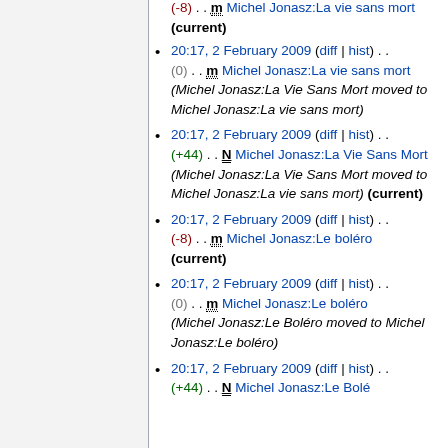20:17, 2 February 2009 (diff | hist) . . (0) . . m Michel Jonasz:La vie sans mort (Michel Jonasz:La Vie Sans Mort moved to Michel Jonasz:La vie sans mort)
20:17, 2 February 2009 (diff | hist) . . (+44) . . N Michel Jonasz:La Vie Sans Mort (Michel Jonasz:La Vie Sans Mort moved to Michel Jonasz:La vie sans mort) (current)
20:17, 2 February 2009 (diff | hist) . . (-8) . . m Michel Jonasz:Le boléro (current)
20:17, 2 February 2009 (diff | hist) . . (0) . . m Michel Jonasz:Le boléro (Michel Jonasz:Le Boléro moved to Michel Jonasz:Le boléro)
20:17, 2 February 2009 (diff | hist) . .